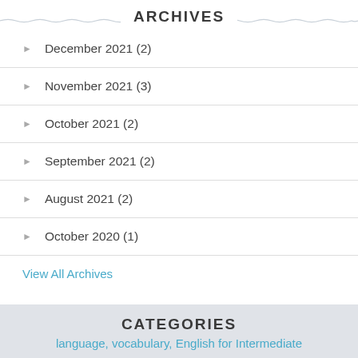ARCHIVES
December 2021 (2)
November 2021 (3)
October 2021 (2)
September 2021 (2)
August 2021 (2)
October 2020 (1)
View All Archives
CATEGORIES
language, vocabulary, English for Intermediate